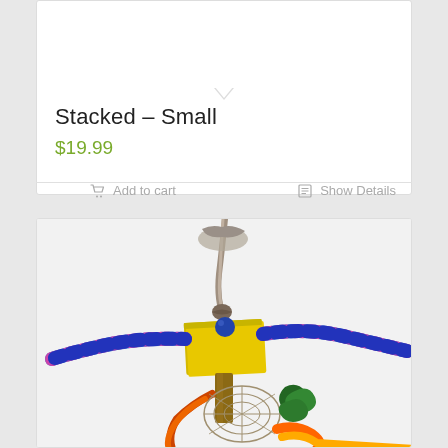Stacked – Small
$19.99
Add to cart
Show Details
[Figure (photo): A colorful stacked bird toy with a yellow square wooden platform, blue bead, braided pink and blue rope arms extending horizontally, and colorful woven/knotted materials hanging below, photographed against a white background.]